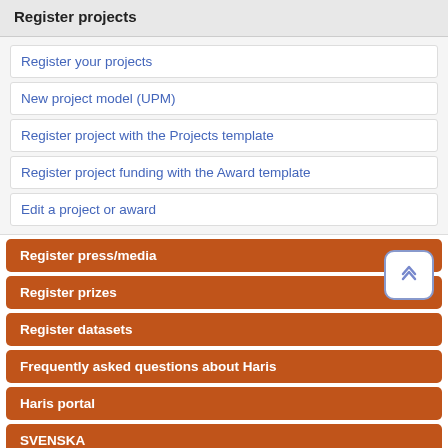Register projects
Register your projects
New project model (UPM)
Register project with the Projects template
Register project funding with the Award template
Edit a project or award
Register press/media
Register prizes
Register datasets
Frequently asked questions about Haris
Haris portal
SVENSKA